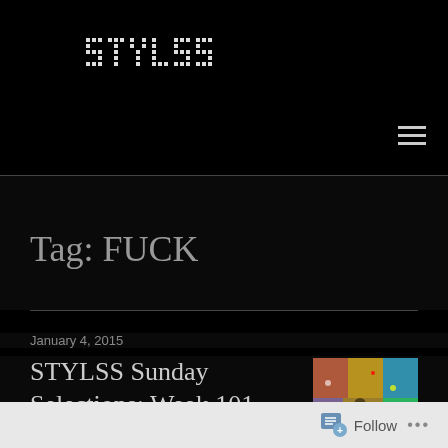STYLSS
Tag: FUCK
January 4, 2015
STYLSS Sunday Selections: Week 101
[Some of the best new music of the
[Figure (photo): Colorful concert/festival photo thumbnail for STYLSS Sunday Selections Week 101]
Follow ...